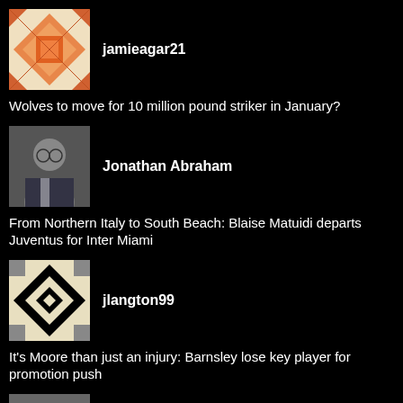[Figure (photo): Avatar icon for jamieagar21 - orange/white geometric quilt pattern]
jamieagar21
Wolves to move for 10 million pound striker in January?
[Figure (photo): Avatar photo of Jonathan Abraham - young man in suit]
Jonathan Abraham
From Northern Italy to South Beach: Blaise Matuidi departs Juventus for Inter Miami
[Figure (photo): Avatar icon for jlangton99 - black and white geometric diamond pattern]
jlangton99
It's Moore than just an injury: Barnsley lose key player for promotion push
[Figure (photo): Avatar photo of Joel Shooter - young man smiling]
Joel Shooter
Leeds United finally show their cutting edge!
[Figure (photo): Avatar icon for jonnyw1987 - green and white geometric pattern]
jonnyw1987
ENGLAND v BELGIUM preview
[Figure (photo): Avatar photo of Jonty Summerell - partial view]
Jonty Summerell